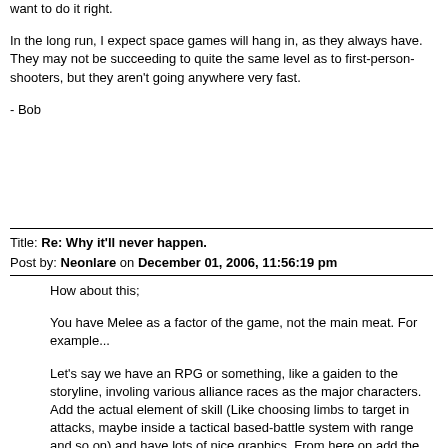want to do it right.
In the long run, I expect space games will hang in, as they always have. They may not be succeeding to quite the same level as to first-person-shooters, but they aren't going anywhere very fast.
- Bob
Title: Re: Why it'll never happen.
Post by: Neonlare on December 01, 2006, 11:56:19 pm
How about this;
You have Melee as a factor of the game, not the main meat. For example...
Let's say we have an RPG or something, like a gaiden to the storyline, involing various alliance races as the major characters. Add the actual element of skill (Like choosing limbs to target in attacks, maybe inside a tactical based-battle system with range and so on) and have lots of nice graphics. From here on add the Super Melee, add multiple ship combat, with objective based missions, also tweak around with the SCNot3's Colony system, make it shinier, make it more interactive and make it more interesting. Then add other other stuff such as mini-games and so on, basically diversify the